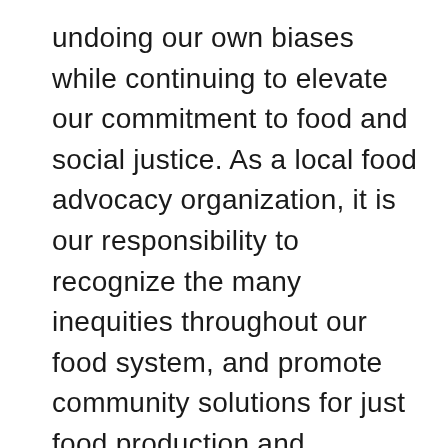undoing our own biases while continuing to elevate our commitment to food and social justice. As a local food advocacy organization, it is our responsibility to recognize the many inequities throughout our food system, and promote community solutions for just food production and availability. We are committed to everyone having equal access to nutritious, local, fresh, and culturally appropriate food, grown in backyards or on farms. Our actions are to train next generation farmers, secure affordable agricultural land, provide gardens and garden education, educate children about the variety of foods and where they